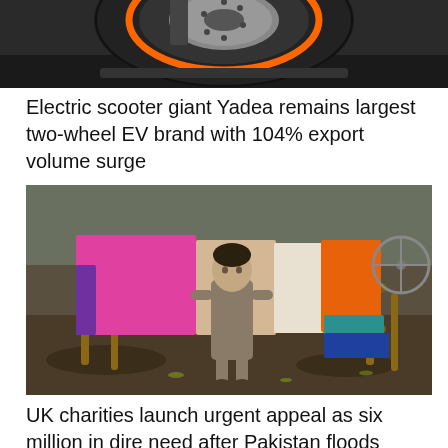[Figure (photo): Close-up of an electric scooter wheel with orange accent and black tire, partially cropped at top of page]
Electric scooter giant Yadea remains largest two-wheel EV brand with 104% export volume surge
[Figure (photo): A mud-covered child stands in front of a colorful cot/charpoy in a flood-affected area in Pakistan, surrounded by debris and muddy ground]
UK charities launch urgent appeal as six million in dire need after Pakistan floods